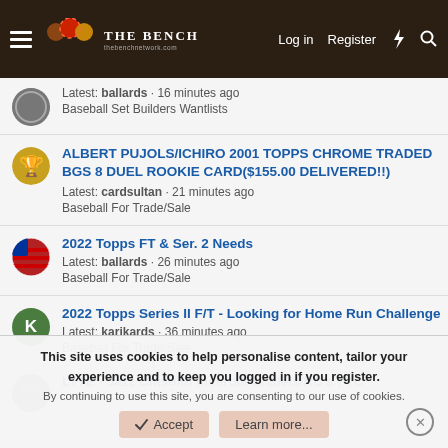THE BENCH — Log in | Register
Latest: ballards · 16 minutes ago
Baseball Set Builders Wantlists
ALBERT PUJOLS/ICHIRO 2001 TOPPS CHROME TRADED BGS 8 DUEL ROOKIE CARD($155.00 DELIVERED!!)
Latest: cardsultan · 21 minutes ago
Baseball For Trade/Sale
2022 Topps FT & Ser. 2 Needs
Latest: ballards · 26 minutes ago
Baseball For Trade/Sale
2022 Topps Series II F/T - Looking for Home Run Challenge
Latest: karikards · 36 minutes ago
Baseball For Trade/Sale
LTTE - Jazz Chisolm Inserts/Parallels/RC's FTC
This site uses cookies to help personalise content, tailor your experience and to keep you logged in if you register.
By continuing to use this site, you are consenting to our use of cookies.